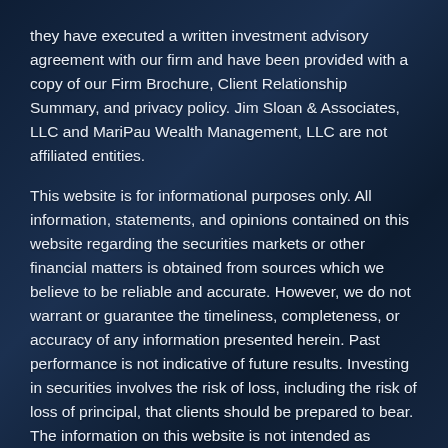they have executed a written investment advisory agreement with our firm and have been provided with a copy of our Firm Brochure, Client Relationship Summary, and privacy policy. Jim Sloan & Associates, LLC and MariPau Wealth Management, LLC are not affiliated entities.
This website is for informational purposes only. All information, statements, and opinions contained on this website regarding the securities markets or other financial matters is obtained from sources which we believe to be reliable and accurate. However, we do not warrant or guarantee the timeliness, completeness, or accuracy of any information presented herein. Past performance is not indicative of future results. Investing in securities involves the risk of loss, including the risk of loss of principal, that clients should be prepared to bear. The information on this website is not intended as personalized investment, tax, or legal advice and we do not provide any tax or legal advice to clients. You should consult with your independent investment, legal and/or tax professionals with respect to your individual financial situation and investment